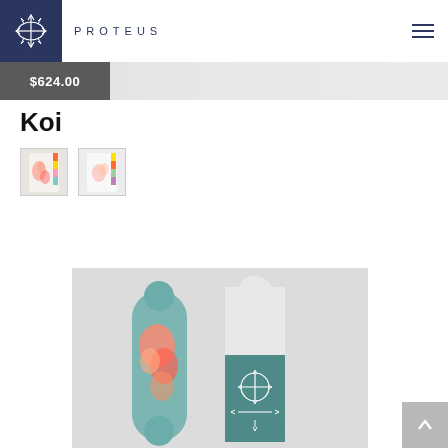PROTEUS
$624.00
Koi
[Figure (photo): Two small thumbnail images of a product (skateboard deck packaging) - one showing floral koi design, one showing the back]
[Figure (photo): Main product image showing two skateboard decks on grey background - left deck with colorful koi fish artwork, right deck showing Proteus logo on teal background]